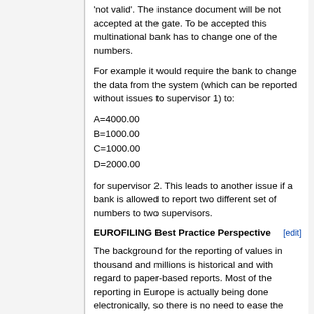'not valid'. The instance document will be not accepted at the gate. To be accepted this multinational bank has to change one of the numbers.
For example it would require the bank to change the data from the system (which can be reported without issues to supervisor 1) to:
A=4000.00
B=1000.00
C=1000.00
D=2000.00
for supervisor 2. This leads to another issue if a bank is allowed to report two different set of numbers to two supervisors.
EUROFILING Best Practice Perspective
The background for the reporting of values in thousand and millions is historical and with regard to paper-based reports. Most of the reporting in Europe is actually being done electronically, so there is no need to ease the filling of reports by requesting only the main